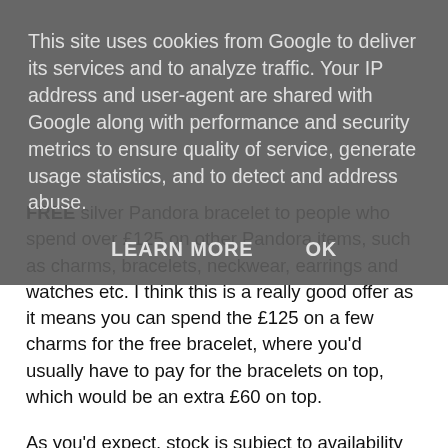This site uses cookies from Google to deliver its services and to analyze traffic. Your IP address and user-agent are shared with Google along with performance and security metrics to ensure quality of service, generate usage statistics, and to detect and address abuse.
LEARN MORE   OK
FREE silver Pandora bracelet to people who spend over £125 on other Pandora items, such as charms, bracelets, neckwear, earrings and watches etc. I think this is a really good offer as it means you can spend the £125 on a few charms for the free bracelet, where you'd usually have to pay for the bracelets on top, which would be an extra £60 on top.
As you'd expect, stock is subject to availability and it's all on a first come, first served basis until the offer ends later on tonight. Just add the items you want to buy to your cart and the free bracelet will be automatically added to your cart, once the £125 on relevant items has been achieved.
I've been lusting after a bracelet for a while, but unfortunately for me this offer appears to only apply to it multi-gifts...